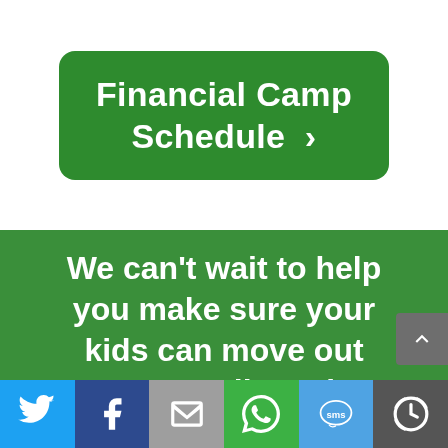[Figure (screenshot): Green rounded button with white bold text reading 'Financial Camp Schedule' with a right chevron '>']
We can't wait to help you make sure your kids can move out eventually and
[Figure (infographic): Social share bar with icons: Twitter (bird), Facebook (f), Email (envelope), WhatsApp (phone bubble), SMS (speech bubble with 'sms'), More (circular arrows)]